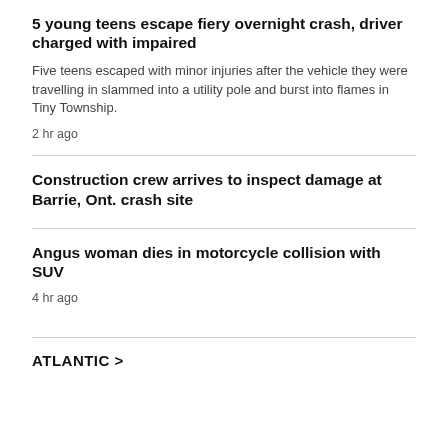5 young teens escape fiery overnight crash, driver charged with impaired
Five teens escaped with minor injuries after the vehicle they were travelling in slammed into a utility pole and burst into flames in Tiny Township.
2 hr ago
Construction crew arrives to inspect damage at Barrie, Ont. crash site
Angus woman dies in motorcycle collision with SUV
4 hr ago
ATLANTIC >